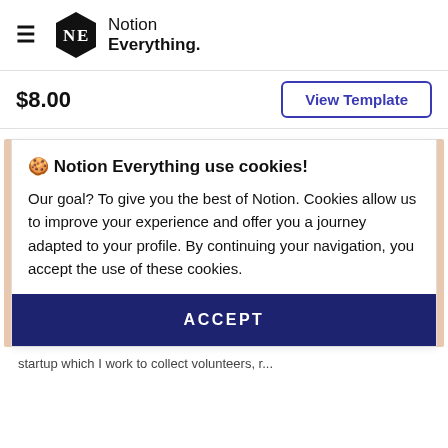[Figure (logo): Notion Everything logo: cube icon with N and E letters, followed by text 'Notion Everything.']
$8.00
View Template
🍪 Notion Everything use cookies!
Our goal? To give you the best of Notion. Cookies allow us to improve your experience and offer you a journey adapted to your profile. By continuing your navigation, you accept the use of these cookies.
ACCEPT
startup which I work to collect volunteers, r...